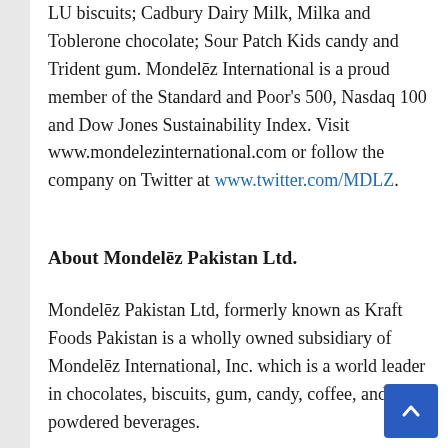LU biscuits; Cadbury Dairy Milk, Milka and Toblerone chocolate; Sour Patch Kids candy and Trident gum. Mondelēz International is a proud member of the Standard and Poor's 500, Nasdaq 100 and Dow Jones Sustainability Index. Visit www.mondelezinternational.com or follow the company on Twitter at www.twitter.com/MDLZ.
About Mondelēz Pakistan Ltd.
Mondelēz Pakistan Ltd, formerly known as Kraft Foods Pakistan is a wholly owned subsidiary of Mondelēz International, Inc. which is a world leader in chocolates, biscuits, gum, candy, coffee, and powdered beverages.